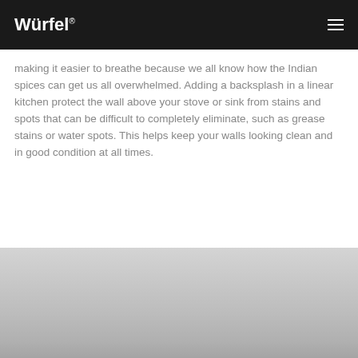Würfel®
making it easier to breathe because we all know how the Indian spices can get us all overwhelmed. Adding a backsplash in a linear kitchen protect the wall above your stove or sink from stains and spots that can be difficult to completely eliminate, such as grease stains or water spots. This helps keep your walls looking clean and in good condition at all times.
[Figure (photo): Gray gradient image section at the bottom of the page, showing what appears to be a partially visible kitchen or interior photo fading from light gray to darker gray.]